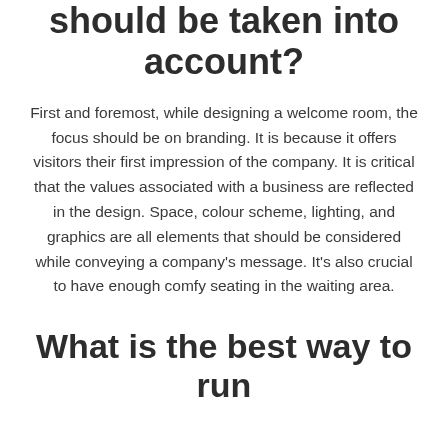should be taken into account?
First and foremost, while designing a welcome room, the focus should be on branding. It is because it offers visitors their first impression of the company. It is critical that the values associated with a business are reflected in the design. Space, colour scheme, lighting, and graphics are all elements that should be considered while conveying a company's message. It's also crucial to have enough comfy seating in the waiting area.
What is the best way to run a welcome area?